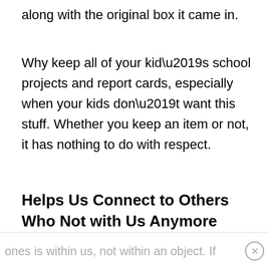along with the original box it came in.
Why keep all of your kid’s school projects and report cards, especially when your kids don’t want this stuff. Whether you keep an item or not, it has nothing to do with respect.
Helps Us Connect to Others Who Not with Us Anymore
The connection to our departed loves ones is within us, not within an object. If
ones is within us, not within an object. If